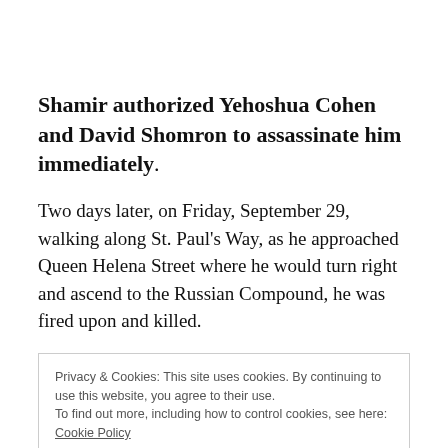Shamir authorized Yehoshua Cohen and David Shomron to assassinate him immediately.
Two days later, on Friday, September 29, walking along St. Paul's Way, as he approached Queen Helena Street where he would turn right and ascend to the Russian Compound, he was fired upon and killed.
Privacy & Cookies: This site uses cookies. By continuing to use this website, you agree to their use. To find out more, including how to control cookies, see here: Cookie Policy [Close and accept]
The High Holy Day season was over.